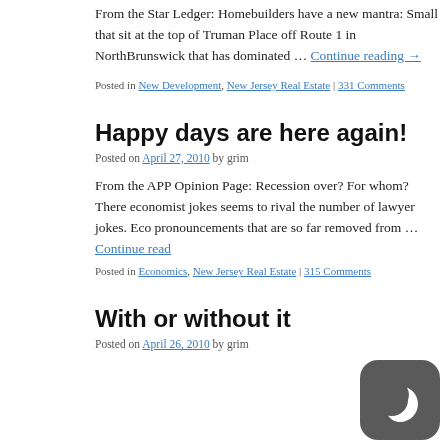From the Star Ledger: Homebuilders have a new mantra: Small... that sit at the top of Truman Place off Route 1 in NorthBrunswick... that has dominated … Continue reading →
Posted in New Development, New Jersey Real Estate | 331 Comments
Happy days are here again!
Posted on April 27, 2010 by grim
From the APP Opinion Page: Recession over? For whom? There... economist jokes seems to rival the number of lawyer jokes. Eco... pronouncements that are so far removed from … Continue reading...
Posted in Economics, New Jersey Real Estate | 315 Comments
With or without it
Posted on April 26, 2010 by grim
[Figure (logo): Dark rounded square icon with a crescent moon symbol]